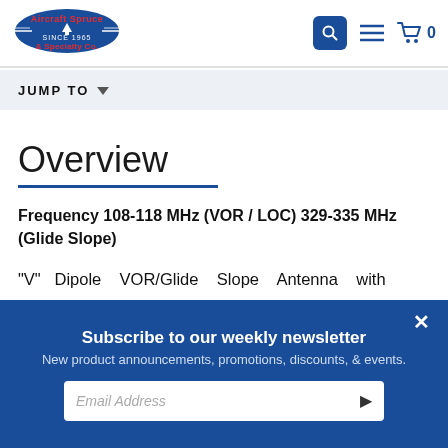[Figure (logo): Aircraft Spruce & Specialty Co. logo — oval emblem with red text on blue background, since 1965]
Aircraft Spruce & Specialty Co. navigation header with search, menu, and cart (0) icons
JUMP TO
Overview
Frequency 108-118 MHz (VOR / LOC) 329-335 MHz (Glide Slope)
"V" Dipole VOR/Glide Slope Antenna with
Subscribe to our weekly newsletter
New product announcements, promotions, discounts, & events.
Email Address